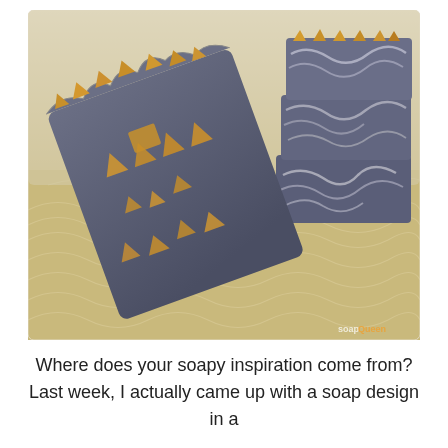[Figure (photo): Photo of handmade artisan soaps with dark charcoal/grey and gold coloring. One large bar leans at an angle showing geometric gold triangle and square cutouts. On the right, a stack of bars with grey-white marble swirls and gold triangular chunks on top. All placed on a gold and cream patterned background fabric. Watermark reads 'soapQueen' in bottom right corner.]
Where does your soapy inspiration come from? Last week, I actually came up with a soap design in a